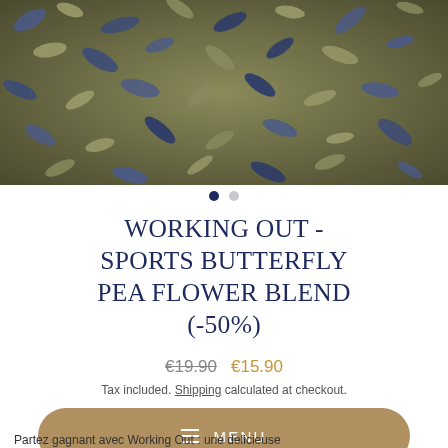[Figure (photo): Close-up photo of dried butterfly pea flowers, blue and beige/cream colored, serving as product image]
WORKING OUT - SPORTS BUTTERFLY PEA FLOWER BLEND (-50%)
€19.90  €15.90
Tax included. Shipping calculated at checkout.
≡ MENU
Partez gagnant avec Working Out : une délicieuse